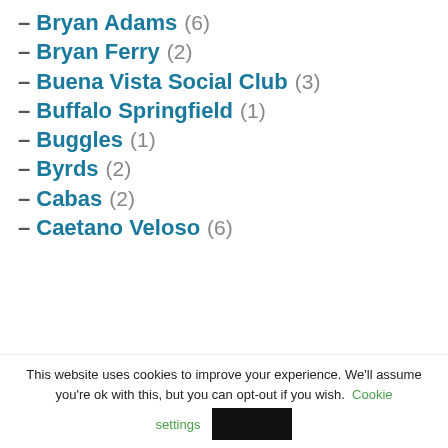– Bryan Adams (6)
– Bryan Ferry (2)
– Buena Vista Social Club (3)
– Buffalo Springfield (1)
– Buggles (1)
– Byrds (2)
– Cabas (2)
– Caetano Veloso (6)
This website uses cookies to improve your experience. We'll assume you're ok with this, but you can opt-out if you wish. Cookie settings [Accept]